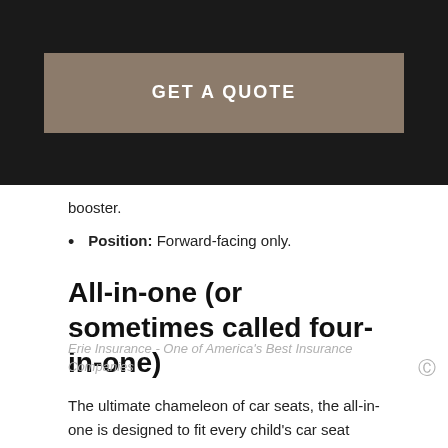[Figure (other): GET A QUOTE button on dark background header bar]
booster.
Position: Forward-facing only.
All-in-one (or sometimes called four-in-one)
The ultimate chameleon of car seats, the all-in-one is designed to fit every child's car seat needs. It starts as a rear-facing seat for newborns and infants, transitions to forward-facing and then can be modified to become a
Erie Insurance - One of America's Best Insurance Companies